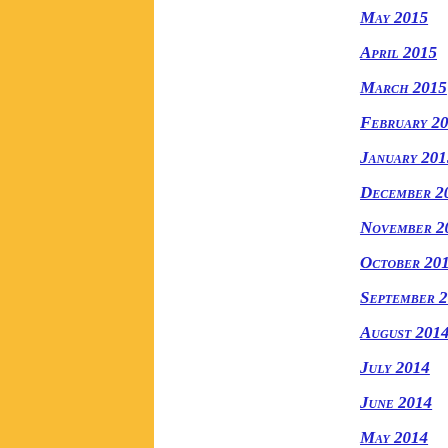[Figure (other): Yellow vertical bar on left side of page]
May 2015
April 2015
March 2015
February 2015
January 2015
December 2014
November 2014
October 2014
September 2014
August 2014
July 2014
June 2014
May 2014
April 2014